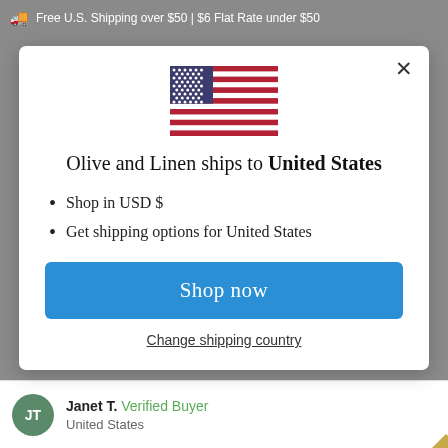Free U.S. Shipping over $50 | $6 Flat Rate under $50
[Figure (illustration): US flag emoji/icon displayed in center of modal dialog]
Olive and Linen ships to United States
Shop in USD $
Get shipping options for United States
Shop now
Change shipping country
Janet T.  Verified Buyer
United States